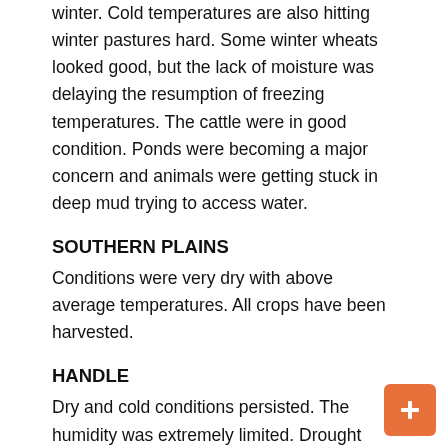winter. Cold temperatures are also hitting winter pastures hard. Some winter wheats looked good, but the lack of moisture was delaying the resumption of freezing temperatures. The cattle were in good condition. Ponds were becoming a major concern and animals were getting stuck in deep mud trying to access water.
SOUTHERN PLAINS
Conditions were very dry with above average temperatures. All crops have been harvested.
HANDLE
Dry and cold conditions persisted. The humidity was extremely limited. Drought conditions affected winter wheat and native pastures. If significant rains do not arrive by April, only